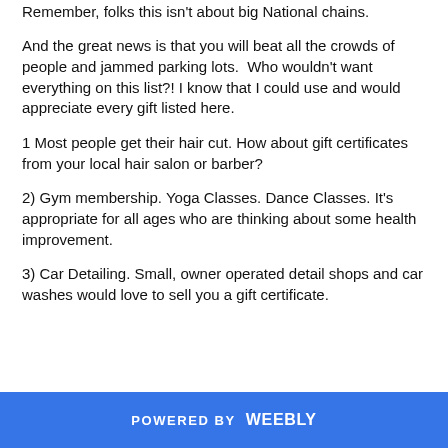Remember, folks this isn't about big National chains.
And the great news is that you will beat all the crowds of people and jammed parking lots.  Who wouldn't want everything on this list?! I know that I could use and would appreciate every gift listed here.
1 Most people get their hair cut. How about gift certificates from your local hair salon or barber?
2) Gym membership. Yoga Classes. Dance Classes. It's appropriate for all ages who are thinking about some health improvement.
3) Car Detailing. Small, owner operated detail shops and car washes would love to sell you a gift certificate.
POWERED BY weebly